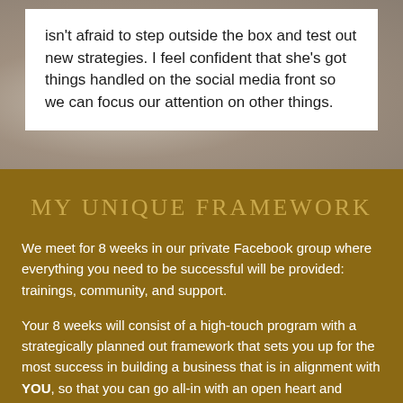isn't afraid to step outside the box and test out new strategies. I feel confident that she's got things handled on the social media front so we can focus our attention on other things.
MY UNIQUE FRAMEWORK
We meet for 8 weeks in our private Facebook group where everything you need to be successful will be provided: trainings, community, and support.
Your 8 weeks will consist of a high-touch program with a strategically planned out framework that sets you up for the most success in building a business that is in alignment with YOU, so that you can go all-in with an open heart and confidence.